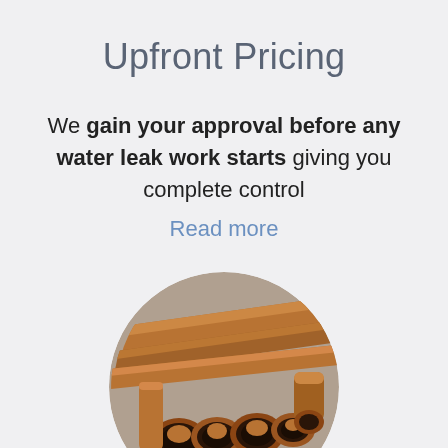Upfront Pricing
We gain your approval before any water leak work starts giving you complete control
Read more
[Figure (photo): Circular photo of copper plumbing pipes resting on gravel/stones]